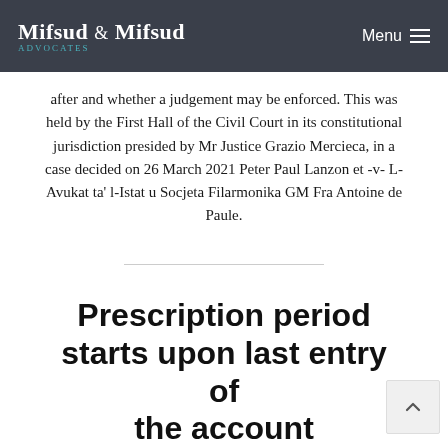Mifsud & Mifsud Advocates — Menu
after and whether a judgement may be enforced. This was held by the First Hall of the Civil Court in its constitutional jurisdiction presided by Mr Justice Grazio Mercieca, in a case decided on 26 March 2021 Peter Paul Lanzon et -v- L-Avukat ta' l-Istat u Socjeta Filarmonika GM Fra Antoine de Paule.
Prescription period starts upon last entry of the account